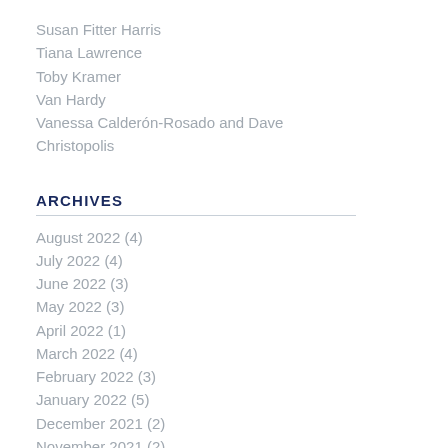Susan Fitter Harris
Tiana Lawrence
Toby Kramer
Van Hardy
Vanessa Calderón-Rosado and Dave Christopolis
ARCHIVES
August 2022 (4)
July 2022 (4)
June 2022 (3)
May 2022 (3)
April 2022 (1)
March 2022 (4)
February 2022 (3)
January 2022 (5)
December 2021 (2)
November 2021 (2)
September 2021 (1)